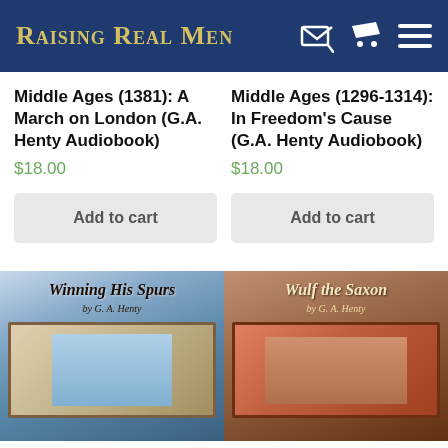Raising Real Men
Middle Ages (1381): A March on London (G.A. Henty Audiobook)
$18.00
Add to cart
Middle Ages (1296-1314): In Freedom's Cause (G.A. Henty Audiobook)
$18.00
Add to cart
[Figure (illustration): Book cover image for 'Winning His Spurs' by G.A. Henty, partially visible at bottom left]
[Figure (illustration): Book cover image for 'Wulf the Saxon' by G.A. Henty, partially visible at bottom right]